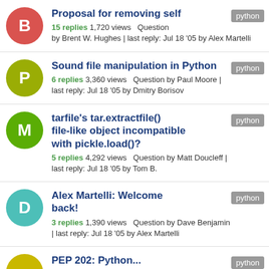Proposal for removing self
15 replies 1,720 views  Question by Brent W. Hughes | last reply: Jul 18 '05 by Alex Martelli [python]
Sound file manipulation in Python
6 replies 3,360 views  Question by Paul Moore | last reply: Jul 18 '05 by Dmitry Borisov [python]
tarfile's tar.extractfile() file-like object incompatible with pickle.load()?
5 replies 4,292 views  Question by Matt Doucleff | last reply: Jul 18 '05 by Tom B. [python]
Alex Martelli: Welcome back!
3 replies 1,390 views  Question by Dave Benjamin | last reply: Jul 18 '05 by Alex Martelli [python]
PEP 202: Python ... [python]